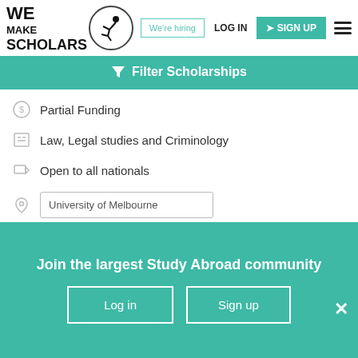[Figure (logo): We Make Scholars logo with acrobat figure inside circle]
We're hiring
LOG IN
SIGN UP
Filter Scholarships
Partial Funding
Law, Legal studies and Criminology
Open to all nationals
University of Melbourne
Shortlist
View & Apply
Join the largest Study Abroad community
Log in
Sign up